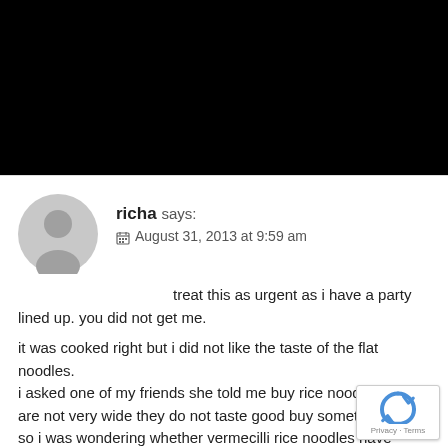[Figure (photo): Black rectangle occupying the top portion of the page (cropped image area)]
richa says:
📅 August 31, 2013 at 9:59 am
treat this as urgent as i have a party lined up. you did not get me.

it was cooked right but i did not like the taste of the flat noodles.
i asked one of my friends she told me buy rice noodles are not very wide they do not taste good buy something else, so i was wondering whether vermecilli rice noodles have